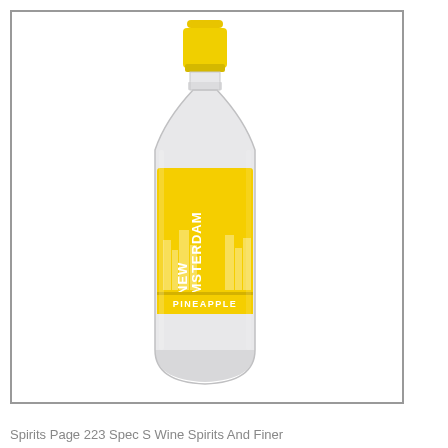[Figure (photo): A bottle of New Amsterdam Pineapple vodka with a yellow cap and yellow label featuring the New Amsterdam brand name and 'PINEAPPLE' text on a lower yellow band. The bottle is clear glass with a tall slender shape.]
Spirits Page 223 Spec S Wine Spirits And Finer